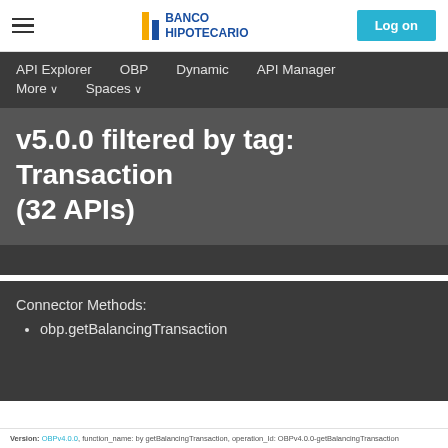Banco Hipotecario — Log on
API Explorer   OBP   Dynamic   API Manager   More ∨   Spaces ∨
v5.0.0 filtered by tag: Transaction (32 APIs)
Connector Methods:
obp.getBalancingTransaction
Version: OBPv4.0.0, function_name: by getBalancingTransaction, operation_Id: OBPv4.0.0-getBalancingTransaction